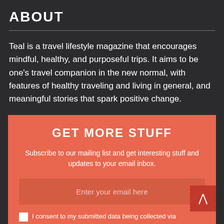ABOUT
Teal is a travel lifestyle magazine that encourages mindful, healthy, and purposeful trips. It aims to be one's travel companion in the new normal, with features of healthy traveling and living in general, and meaningful stories that spark positive change.
GET MORE STUFF
Subscribe to our mailing list and get interesting stuff and updates to your email inbox.
Enter your email here
I consent to my submitted data being collected via